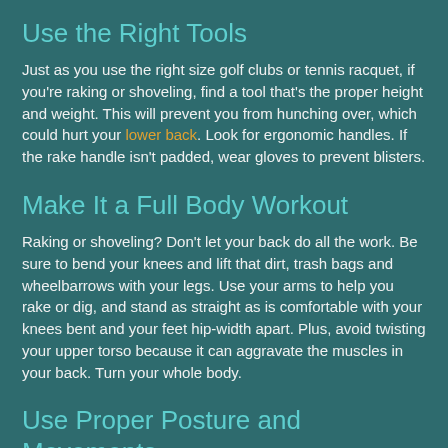Use the Right Tools
Just as you use the right size golf clubs or tennis racquet, if you're raking or shoveling, find a tool that's the proper height and weight. This will prevent you from hunching over, which could hurt your lower back. Look for ergonomic handles. If the rake handle isn't padded, wear gloves to prevent blisters.
Make It a Full Body Workout
Raking or shoveling? Don't let your back do all the work. Be sure to bend your knees and lift that dirt, trash bags and wheelbarrows with your legs. Use your arms to help you rake or dig, and stand as straight as is comfortable with your knees bent and your feet hip-width apart. Plus, avoid twisting your upper torso because it can aggravate the muscles in your back. Turn your whole body.
Use Proper Posture and Movements
When raking, switch sides every few minutes to help avoid using the same muscles to do the same movement repetitively. Never throw leaves over your shoulder or to the side, which puts undue